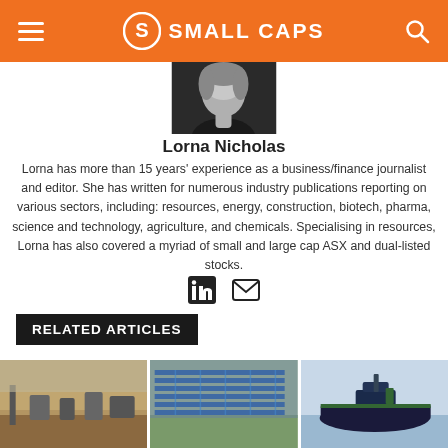SMALL CAPS
[Figure (photo): Black and white headshot photo of Lorna Nicholas]
Lorna Nicholas
Lorna has more than 15 years' experience as a business/finance journalist and editor. She has written for numerous industry publications reporting on various sectors, including: resources, energy, construction, biotech, pharma, science and technology, agriculture, and chemicals. Specialising in resources, Lorna has also covered a myriad of small and large cap ASX and dual-listed stocks.
[Figure (illustration): LinkedIn and email social icons]
RELATED ARTICLES
[Figure (photo): Aerial photo of mining or drilling site with equipment in arid landscape]
[Figure (photo): Aerial photo of large solar panel farm]
[Figure (photo): Illustration or render of a large green and black ship/tanker vessel]